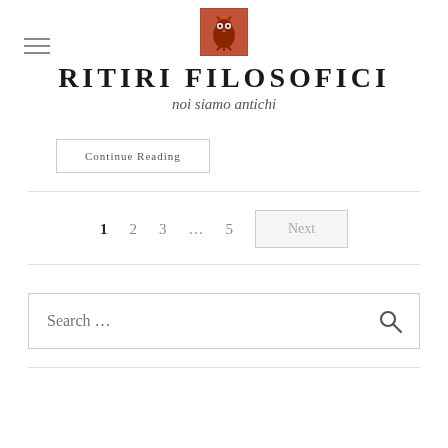RITIRI FILOSOFICI — noi siamo antichi
Continue Reading
1  2  3  …  5  Next
Search …